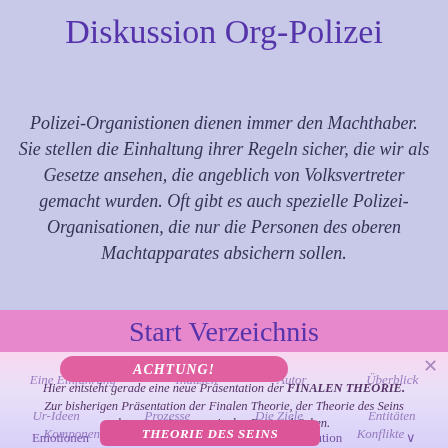Diskussion Org-Polizei
Polizei-Organistionen dienen immer den Machthaber. Sie stellen die Einhaltung ihrer Regeln sicher, die wir als Gesetze ansehen, die angeblich von Volksvertreter gemacht wurden. Oft gibt es auch spezielle Polizei-Organisationen, die nur die Personen des oberen Machtapparates absichern sollen.
Start Verzeichnis
ACHTUNG!
Hier entsteht gerade eine neue Präsentation der FINALEN THEORIE. Zur bisherigen Präsentation der Finalen Theorie, der Theorie des Seins kommen sie, wenn sie den Button drücken.
Eine Einführung
Indizien
Autor
Überblick
Ur-Ideen
Prozesse
Die Ziele
Entitäten
Komponenten
Beziehungen
Konflikte
Emotionen
Freiheitsgrade
Evolution